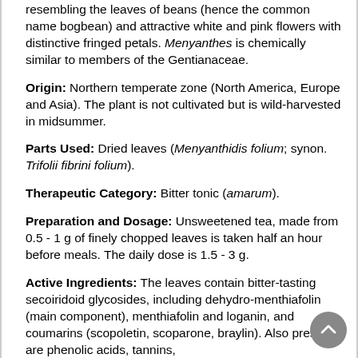resembling the leaves of beans (hence the common name bogbean) and attractive white and pink flowers with distinctive fringed petals. Menyanthes is chemically similar to members of the Gentianaceae.
Origin: Northern temperate zone (North America, Europe and Asia). The plant is not cultivated but is wild-harvested in midsummer.
Parts Used: Dried leaves (Menyanthidis folium; synon. Trifolii fibrini folium).
Therapeutic Category: Bitter tonic (amarum).
Preparation and Dosage: Unsweetened tea, made from 0.5 - 1 g of finely chopped leaves is taken half an hour before meals. The daily dose is 1.5 - 3 g.
Active Ingredients: The leaves contain bitter-tasting secoiridoid glycosides, including dehydro-menthiafolin (main component), menthiafolin and loganin, and coumarins (scopoletin, scoparone, braylin). Also present are phenolic acids, tannins,